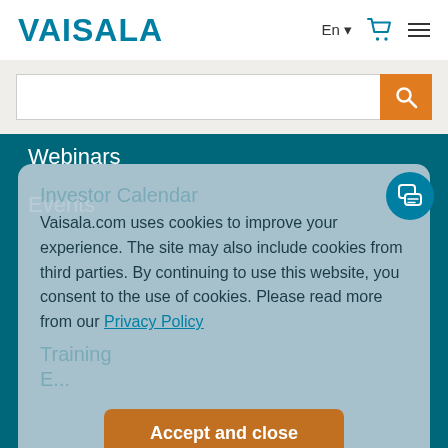VAISALA
[Figure (screenshot): Search bar with orange search button]
Webinars
Events
Investor Calendar
Training
E...
Online store
Vaisala.com uses cookies to improve your experience. The site may also include cookies from third parties. By continuing to use this website, you consent to the use of cookies. Please read more from our Privacy Policy
Accept and close